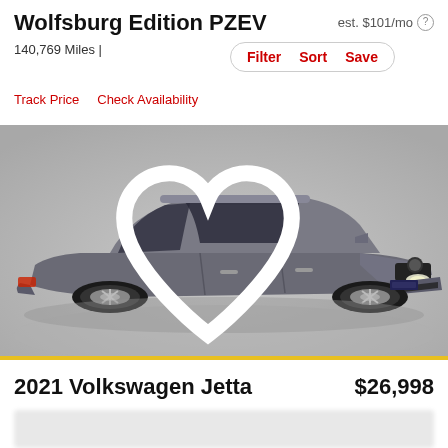Wolfsburg Edition PZEV
est. $101/mo
140,769 Miles |
Filter  Sort  Save
Track Price   Check Availability
[Figure (photo): A gray 2021 Volkswagen Jetta sedan photographed in a studio setting on a light gray background, shown from a front three-quarter angle. A heart/favorite icon is visible in the upper right corner of the image.]
2021 Volkswagen Jetta
$26,998
[blurred content bar]